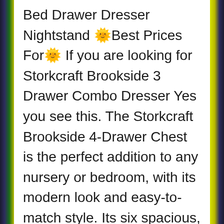Bed Drawer Dresser Nightstand 🌞Best Prices For🌞 If you are looking for Storkcraft Brookside 3 Drawer Combo Dresser Yes you see this. The Storkcraft Brookside 4-Drawer Chest is the perfect addition to any nursery or bedroom, with its modern look and easy-to-match style. Its six spacious, smooth-gliding drawers are perfect for storing and organizing your nursery essentials and kids bedroom items. Storkcraft Brookside 6 Drawer Dresser by Storkcraft . Featuring slender metal handles and modern bracket feet, the Storkcraft Brookside 4-Drawer Chest offers